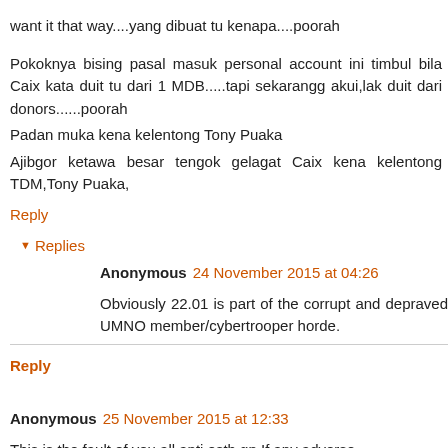want it that wayllyang dibuat tu kenapallpoorah
Pokoknya bising pasal masuk personal account ini timbul bila Caix kata duit tu dari 1 MDB.....tapi sekarangg akui,lak duit dari donors......poorah
Padan muka kena kelentong Tony Puaka
Ajibgor ketawa besar tengok gelagat Caix kena kelentong TDM,Tony Puaka,
Reply
Replies
Anonymous 24 November 2015 at 04:26
Obviously 22.01 is part of the corrupt and depraved UMNO member/cybertrooper horde.
Reply
Anonymous 25 November 2015 at 12:33
This is the fault of you all anti estb gp.If any adverse